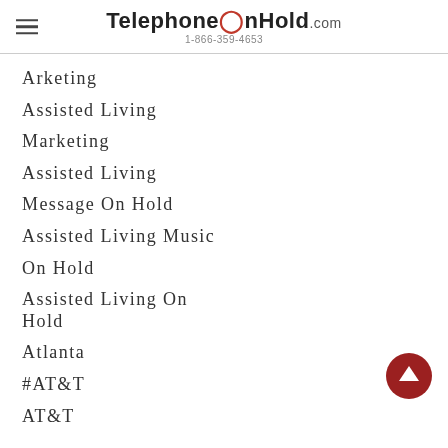TelephoneOnHold.com 1-866-359-4653
Arketing
Assisted Living
Marketing
Assisted Living
Message On Hold
Assisted Living Music
On Hold
Assisted Living On Hold
Atlanta
#AT&T
AT&T